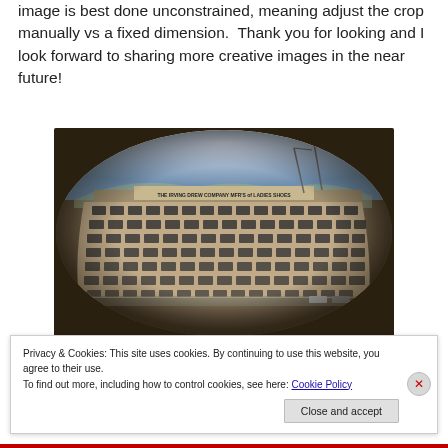image is best done unconstrained, meaning adjust the crop manually vs a fixed dimension.  Thank you for looking and I look forward to sharing more creative images in the near future!
[Figure (photo): Fisheye lens photograph of a large multi-story factory building labeled 'THE IRVING DREW COMPANY MFR'S of LADIES SHOES' — black and white aerial/fisheye view of the building with many windows, cranes visible in the background, with a sepia/colorized circular vignette effect.]
Privacy & Cookies: This site uses cookies. By continuing to use this website, you agree to their use.
To find out more, including how to control cookies, see here: Cookie Policy